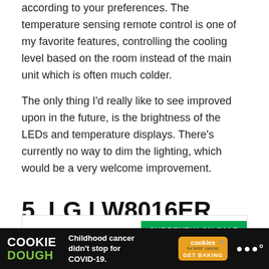according to your preferences. The temperature sensing remote control is one of my favorite features, controlling the cooling level based on the room instead of the main unit which is often much colder.
The only thing I'd really like to see improved upon in the future, is the brightness of the LEDs and temperature displays. There's currently no way to dim the lighting, which would be a very welcome improvement.
5. LG LW8016ER Window-Mounted Air Conditioner
CURRENTLY ON SALE
[Figure (infographic): Cookie Dough advertisement banner at bottom of page. Black background with Cookie Dough text in white/green, 'Childhood cancer didn't stop for COVID-19.' text in white, cookies for kids' cancer orange logo badge with GET BAKING text, and Wirecutter logo (triple W dots) in white.]